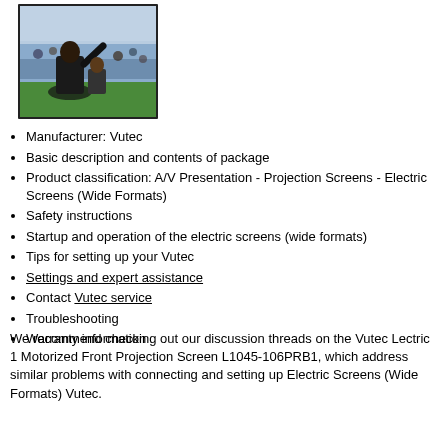[Figure (photo): A person at a sports stadium with crowd in background, viewed from behind, with a green playing field visible]
Manufacturer: Vutec
Basic description and contents of package
Product classification: A/V Presentation - Projection Screens - Electric Screens (Wide Formats)
Safety instructions
Startup and operation of the electric screens (wide formats)
Tips for setting up your Vutec
Settings and expert assistance
Contact Vutec service
Troubleshooting
Warranty information
We recommend checking out our discussion threads on the Vutec Lectric 1 Motorized Front Projection Screen L1045-106PRB1, which address similar problems with connecting and setting up Electric Screens (Wide Formats) Vutec.